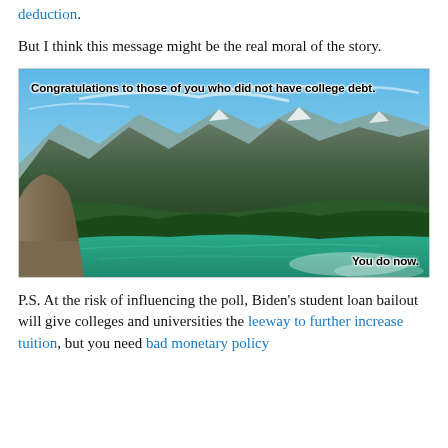deduction.
But I think this message might be the real moral of the story.
[Figure (photo): Landscape photo of mountains and a turquoise lake with meme text overlay: 'Congratulations to those of you who did not have college debt.' and 'You do now.']
P.S. At the risk of influencing the poll, Biden's student loan bailout will give colleges and universities the leeway to further increase tuition, but you need bad monetary policy